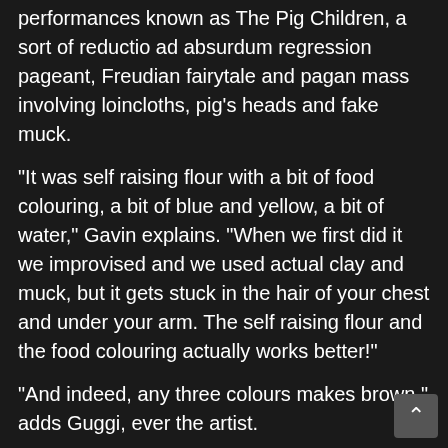performances known as The Pig Children, a sort of reductio ad absurdum regression pageant, Freudian fairytale and pagan mass involving loincloths, pig's heads and fake muck.
“It was self raising flour with a bit of food colouring, a bit of blue and yellow, a bit of water,” Gavin explains. “When we first did it we improvised and we used actual clay and muck, but it gets stuck in the hair of your chest and under your arm. The self raising flour and the food colouring actually works better!”
“And indeed, any three colours makes brown,” adds Guggi, ever the artist.
“So what else did you have?” Olivier asks. “Dead meat?
“Dead meat,” Gavin nods. “Raw meat. We always threw leaves on the floor. But I think where it came from, and why, was the fact that when we first used to